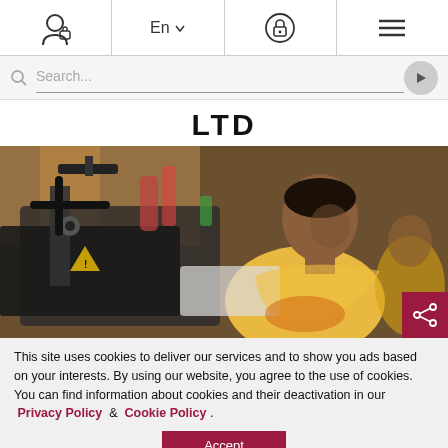Navigation bar with user icon, En language selector, lock icon, hamburger menu
Search...
LTD
[Figure (photo): A man in a yellow shirt working at an industrial sewing machine in a garment factory, other workers visible in background]
This site uses cookies to deliver our services and to show you ads based on your interests. By using our website, you agree to the use of cookies. You can find information about cookies and their deactivation in our Privacy Policy & Cookie Policy .
Accept
Manufacturer & Exporter of Woven Apparel Products to the world, with